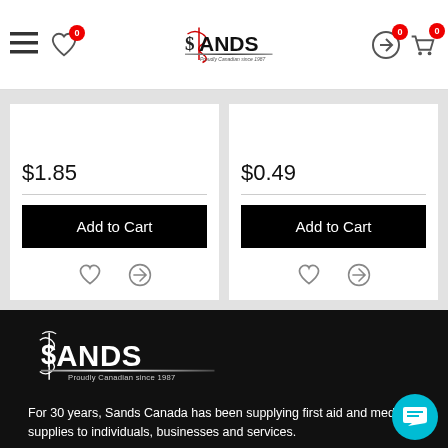Sands Canada navigation bar with hamburger menu, wishlist (0), logo, compare (0), cart (0)
$1.85
$0.49
Add to Cart
Add to Cart
[Figure (logo): Sands Canada logo - white version on black background, Proudly Canadian since 1987]
For 30 years, Sands Canada has been supplying first aid and medical supplies to individuals, businesses and services.